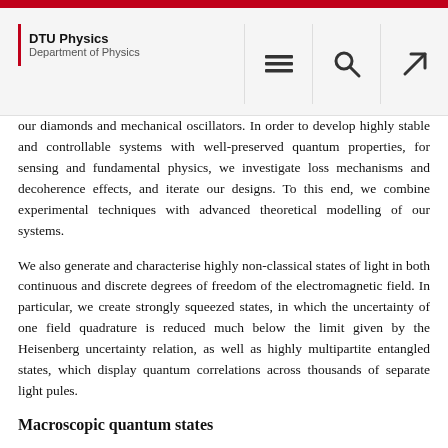DTU Physics — Department of Physics
our diamonds and mechanical oscillators. In order to develop highly stable and controllable systems with well-preserved quantum properties, for sensing and fundamental physics, we investigate loss mechanisms and decoherence effects, and iterate our designs. To this end, we combine experimental techniques with advanced theoretical modelling of our systems.
We also generate and characterise highly non-classical states of light in both continuous and discrete degrees of freedom of the electromagnetic field. In particular, we create strongly squeezed states, in which the uncertainty of one field quadrature is reduced much below the limit given by the Heisenberg uncertainty relation, as well as highly multipartite entangled states, which display quantum correlations across thousands of separate light pules.
Macroscopic quantum states
While quantum phenomena were first observed at the very small scales of atoms and molecules, there is as yet no known fundamental reason that quantum mechanics should not apply at much larger, and even